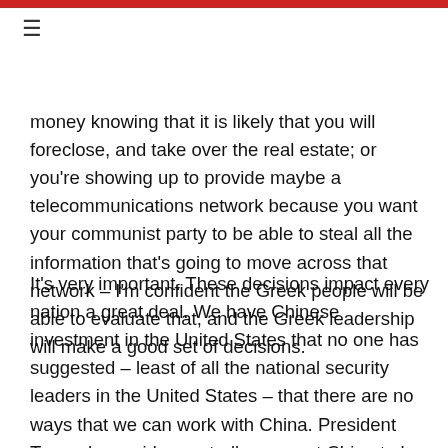≡
money knowing that it is likely that you will foreclose, and take over the real estate; or you're showing up to provide maybe a telecommunications network because you want your communist party to be able to steal all the information that's going to move across that network – I'm confident the Greek people will be able to evaluate that, and the Greek leadership will make a good set of decisions.
It's very important. These decisions impact every nation a great deal. We have Chinese investment in the United States that no one has suggested – least of all the national security leaders in the United States – that there are no ways that we can work with China. President Trump has said repeatedly we want China to be successful, and we want them to prosper. What we don't want them to do is steal the property of Greek citizens. You all work too hard to